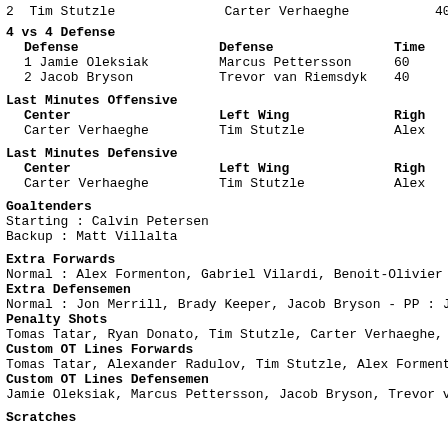2  Tim Stutzle                Carter Verhaeghe           40
4 vs 4 Defense
Defense | Defense | Time
1 Jamie Oleksiak | Marcus Pettersson | 60
2 Jacob Bryson | Trevor van Riemsdyk | 40
Last Minutes Offensive
Center | Left Wing | Right
Carter Verhaeghe | Tim Stutzle | Alex
Last Minutes Defensive
Center | Left Wing | Right
Carter Verhaeghe | Tim Stutzle | Alex
Goaltenders
Starting : Calvin Petersen
Backup : Matt Villalta
Extra Forwards
Normal : Alex Formenton, Gabriel Vilardi, Benoit-Olivier
Extra Defensemen
Normal : Jon Merrill, Brady Keeper, Jacob Bryson - PP : J
Penalty Shots
Tomas Tatar, Ryan Donato, Tim Stutzle, Carter Verhaeghe,
Custom OT Lines Forwards
Tomas Tatar, Alexander Radulov, Tim Stutzle, Alex Forment
Custom OT Lines Defensemen
Jamie Oleksiak, Marcus Pettersson, Jacob Bryson, Trevor v
Scratches